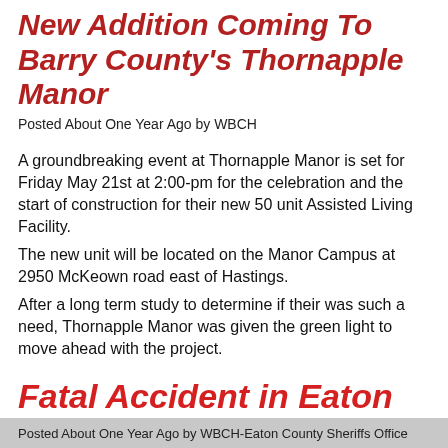New Addition Coming To Barry County's Thornapple Manor
Posted About One Year Ago by WBCH
A groundbreaking event at Thornapple Manor is set for Friday May 21st at 2:00-pm for the celebration and the start of construction for their new 50 unit Assisted Living Facility.
The new unit will be located on the Manor Campus at 2950 McKeown road east of Hastings.
After a long term study to determine if their was such a need, Thornapple Manor was given the green light to move ahead with the project.
Fatal Accident in Eaton County
Posted About One Year Ago by WBCH-Eaton County Sheriffs Office